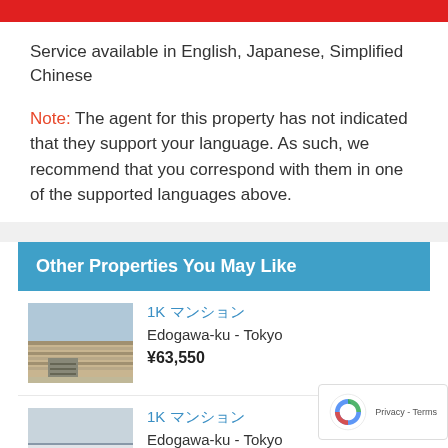Service available in English, Japanese, Simplified Chinese
Note: The agent for this property has not indicated that they support your language. As such, we recommend that you correspond with them in one of the supported languages above.
Other Properties You May Like
[Figure (photo): Exterior photo of a 2-story apartment building with horizontal beige/tan siding and exterior staircase]
1K マンション
Edogawa-ku - Tokyo
¥63,550
[Figure (photo): Exterior photo of a modern white apartment building]
1K マンション
Edogawa-ku - Tokyo